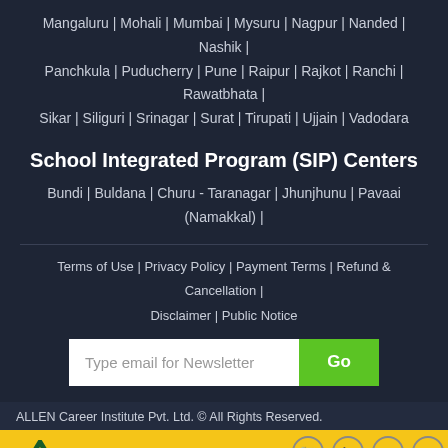Mangaluru | Mohali | Mumbai | Mysuru | Nagpur | Nanded | Nashik | Panchkula | Puducherry | Pune | Raipur | Rajkot | Ranchi | Rawatbhata | Sikar | Siliguri | Srinagar | Surat | Tirupati | Ujjain | Vadodara
School Integrated Program (SIP) Centers
Bundi | Buldana | Churu - Taranagar | Jhunjhunu | Pavaai (Namakkal) |
Terms of Use | Privacy Policy | Payment Terms | Refund & Cancellation | Disclaimer | Public Notice
Type email for Newsletter
ALLEN Career Institute Pvt. Ltd. © All Rights Reserved.
[Figure (infographic): ALLEN Digital advertisement banner with logo, animated character, social media icons, and text: For Our NATIONAL ONLINE LIVE Courses visit: www.allendigital.in]